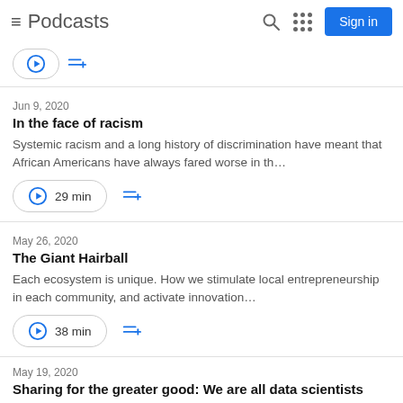Podcasts  Sign in
Jun 9, 2020
In the face of racism
Systemic racism and a long history of discrimination have meant that African Americans have always fared worse in th…
29 min
May 26, 2020
The Giant Hairball
Each ecosystem is unique. How we stimulate local entrepreneurship in each community, and activate innovation…
38 min
May 19, 2020
Sharing for the greater good: We are all data scientists